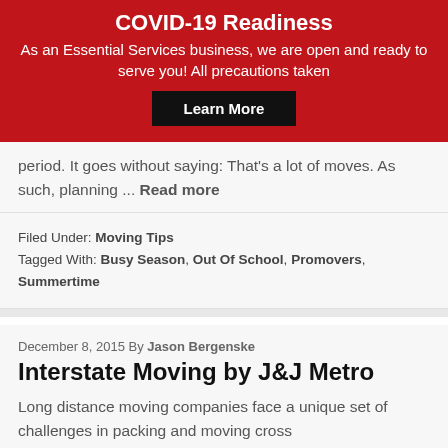COVID-19 Readiness
As an Essential Services business, we are open and ready to serve you! All precautions taken
Learn More
period. It goes without saying: That's a lot of moves. As such, planning ... Read more
Filed Under: Moving Tips
Tagged With: Busy Season, Out Of School, Promovers, Summertime
December 8, 2015 By Jason Bergenske
Interstate Moving by J&J Metro
Long distance moving companies face a unique set of challenges in packing and moving cross